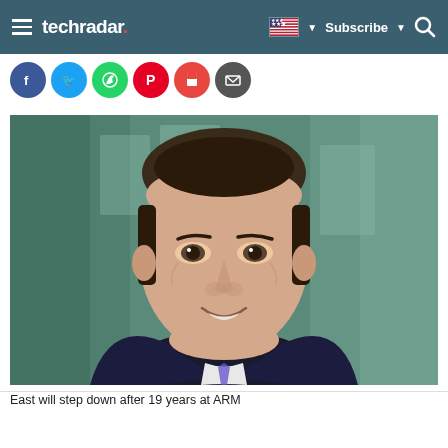techradar | Subscribe | Search
[Figure (photo): Professional headshot of a man in a dark suit and tie, smiling, with a blurred green/glass building background]
East will step down after 19 years at ARM